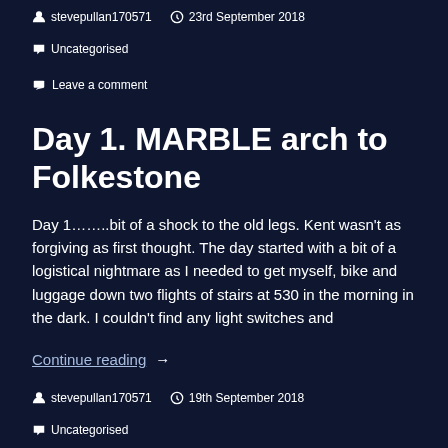stevepullan170571  23rd September 2018  Uncategorised  Leave a comment
Day 1. MARBLE arch to Folkestone
Day 1……..bit of a shock to the old legs. Kent wasn't as forgiving as first thought. The day started with a bit of a logistical nightmare as I needed to get myself, bike and luggage down two flights of stairs at 530 in the morning in the dark. I couldn't find any light switches and
Continue reading  →
stevepullan170571  19th September 2018  Uncategorised  1 Comment